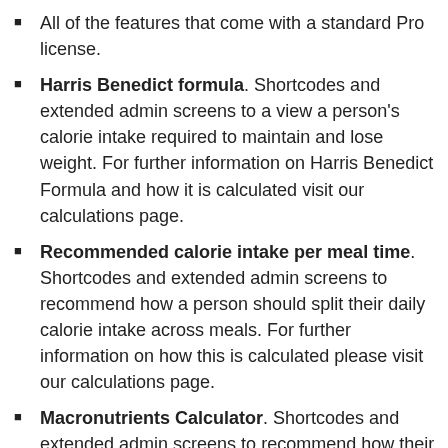All of the features that come with a standard Pro license.
Harris Benedict formula. Shortcodes and extended admin screens to a view a person's calorie intake required to maintain and lose weight. For further information on Harris Benedict Formula and how it is calculated visit our calculations page.
Recommended calorie intake per meal time. Shortcodes and extended admin screens to recommend how a person should split their daily calorie intake across meals. For further information on how this is calculated please visit our calculations page.
Macronutrients Calculator. Shortcodes and extended admin screens to recommend how their calorie consumption should be split into fats, carbohydrates and proteins. For further